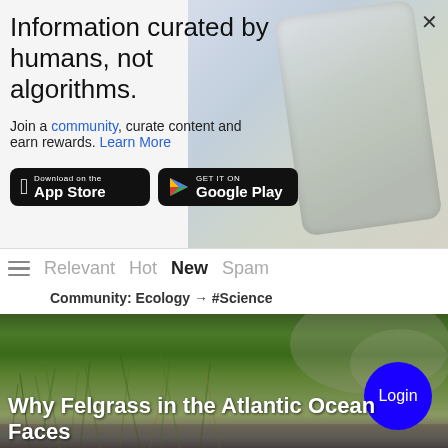Information curated by humans, not algorithms.
Join a community, curate content and earn rewards. Learn More
[Figure (screenshot): App Store and Google Play store download buttons on dark background]
Relevant  Hot  New  Spam
Community: Ecology → #Science
[Figure (photo): Aerial/ground-level photo of green felgrass/seagrass on rocky surface near Atlantic Ocean]
Why Felgrass in the Atlantic Ocean Faces